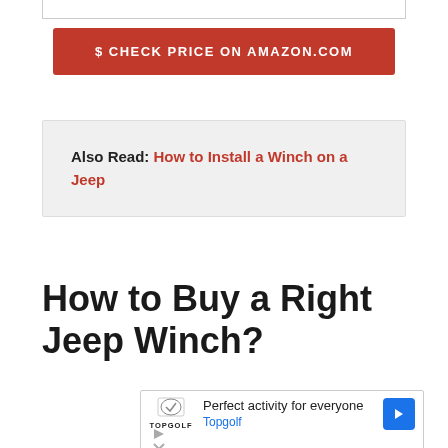$ CHECK PRICE ON AMAZON.COM
Also Read: How to Install a Winch on a Jeep
How to Buy a Right Jeep Winch?
[Figure (other): Advertisement banner for Topgolf: 'Perfect activity for everyone' with Topgolf logo, brand name in blue, and a blue diamond-shaped arrow icon. Below are play and close icons.]